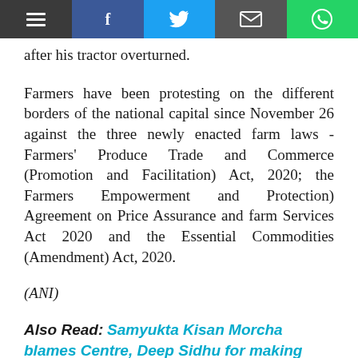Navigation bar with menu, Facebook, Twitter, email, and WhatsApp icons
after his tractor overturned.
Farmers have been protesting on the different borders of the national capital since November 26 against the three newly enacted farm laws - Farmers' Produce Trade and Commerce (Promotion and Facilitation) Act, 2020; the Farmers Empowerment and Protection) Agreement on Price Assurance and farm Services Act 2020 and the Essential Commodities (Amendment) Act, 2020.
(ANI)
Also Read: Samyukta Kisan Morcha blames Centre, Deep Sidhu for making farmers movement violent